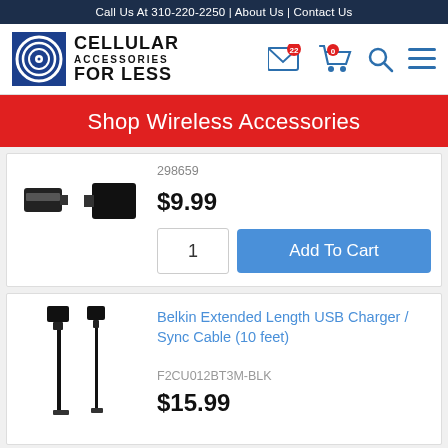Call Us At 310-220-2250 | About Us | Contact Us
[Figure (logo): Cellular Accessories For Less logo with circular signal icon]
[Figure (infographic): Header icons: envelope with badge 22, shopping cart with badge 0, search icon, menu icon]
Shop Wireless Accessories
298659
$9.99
1
Add To Cart
Belkin Extended Length USB Charger / Sync Cable (10 feet)
F2CU012BT3M-BLK
$15.99